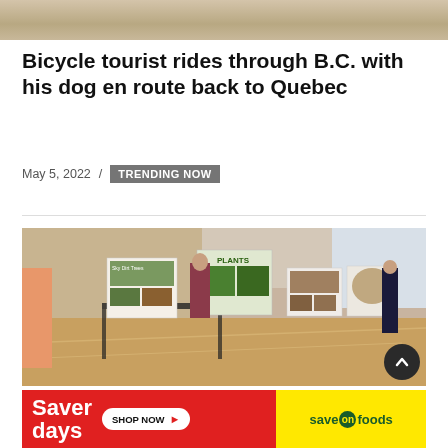[Figure (photo): Partial top photo showing sandy/gravelly ground with what appears to be a dog leg/paw]
Bicycle tourist rides through B.C. with his dog en route back to Quebec
May 5, 2022 / TRENDING NOW
[Figure (photo): Indoor gymnasium scene with display boards/posters on tables. People wearing masks and casual clothing viewing educational displays. Signs visible include 'Sky Dirt Trees' and 'PLANTS'. Wooden gym floor with court lines visible.]
[Figure (other): Advertisement banner: Saver days - SHOP NOW - save on foods]